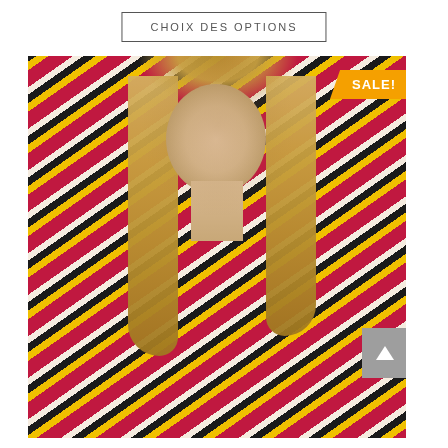CHOIX DES OPTIONS
[Figure (photo): Female model with long blonde hair wearing an open patterned shirt/jacket with a repeating graphic logo print in pink, yellow, black and white (Dsquared2 style). A SALE! badge appears in the top-right corner of the image. A grey scroll-up arrow button is visible on the right side.]